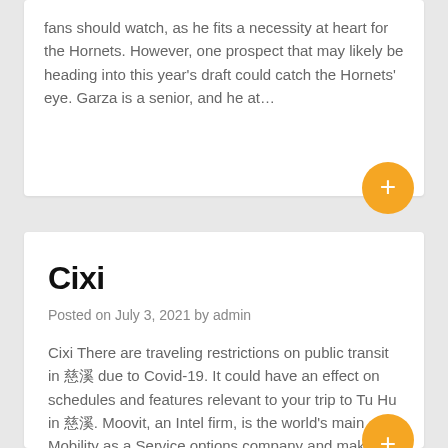fans should watch, as he fits a necessity at heart for the Hornets. However, one prospect that may likely be heading into this year's draft could catch the Hornets' eye. Garza is a senior, and he at…
Cixi
Posted on July 3, 2021 by admin
Cixi There are traveling restrictions on public transit in 慈溪 due to Covid-19. It could have an effect on schedules and features relevant to your trip to Tu Hu in 慈溪. Moovit, an Intel firm, is the world's main Mobility as a Service options company and maker of the #1 urban mobility app. Get directions…